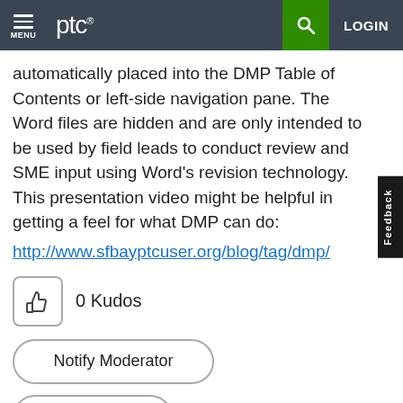MENU | ptc® | [search] | LOGIN
automatically placed into the DMP Table of Contents or left-side navigation pane. The Word files are hidden and are only intended to be used by field leads to conduct review and SME input using Word's revision technology. This presentation video might be helpful in getting a feel for what DMP can do: http://www.sfbayptcuser.org/blog/tag/dmp/
0 Kudos
Notify Moderator
Reply